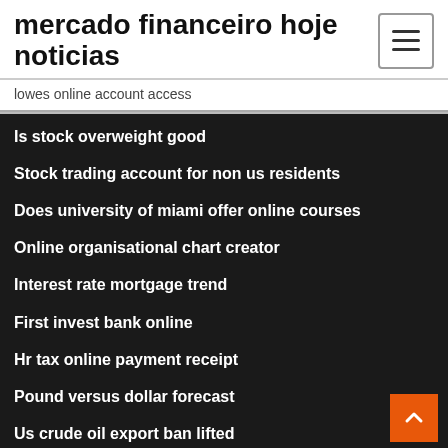mercado financeiro hoje noticias
lowes online account access
Is stock overweight good
Stock trading account for non us residents
Does university of miami offer online courses
Online organisational chart creator
Interest rate mortgage trend
First invest bank online
Hr tax online payment receipt
Pound versus dollar forecast
Us crude oil export ban lifted
10year t note graph